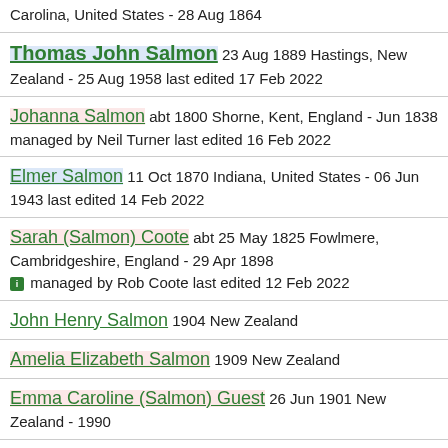Carolina, United States - 28 Aug 1864
Thomas John Salmon 23 Aug 1889 Hastings, New Zealand - 25 Aug 1958 last edited 17 Feb 2022
Johanna Salmon abt 1800 Shorne, Kent, England - Jun 1838 managed by Neil Turner last edited 16 Feb 2022
Elmer Salmon 11 Oct 1870 Indiana, United States - 06 Jun 1943 last edited 14 Feb 2022
Sarah (Salmon) Coote abt 25 May 1825 Fowlmere, Cambridgeshire, England - 29 Apr 1898 managed by Rob Coote last edited 12 Feb 2022
John Henry Salmon 1904 New Zealand
Amelia Elizabeth Salmon 1909 New Zealand
Emma Caroline (Salmon) Guest 26 Jun 1901 New Zealand - 1990
Olive Mary (Salmon) Carter 13 Sep 1902 New...